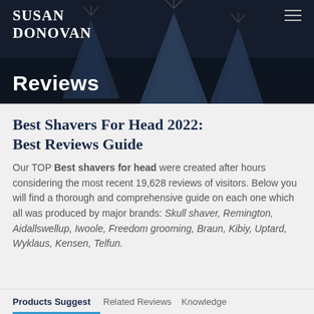Susan Donovan
Reviews
Best Shavers For Head 2022: Best Reviews Guide
Our TOP Best shavers for head were created after hours considering the most recent 19,628 reviews of visitors. Below you will find a thorough and comprehensive guide on each one which all was produced by major brands: Skull shaver, Remington, Aidallswellup, Iwoole, Freedom grooming, Braun, Kibiy, Uptard, Wyklaus, Kensen, Telfun.
Products Suggest | Related Reviews | Knowledge